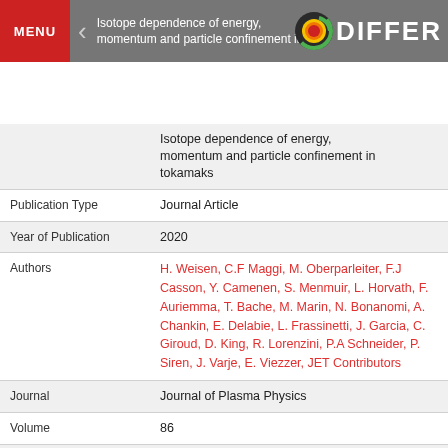MENU | < | Isotope dependence of energy, momentum and particle confinement in tokamaks | DIFFER
| Field | Value |
| --- | --- |
|  | Isotope dependence of energy, momentum and particle confinement in tokamaks |
| Publication Type | Journal Article |
| Year of Publication | 2020 |
| Authors | H. Weisen, C.F Maggi, M. Oberparleiter, F.J Casson, Y. Camenen, S. Menmuir, L. Horvath, F. Auriemma, T. Bache, M. Marin, N. Bonanomi, A. Chankin, E. Delabie, L. Frassinetti, J. Garcia, C. Giroud, D. King, R. Lorenzini, P.A Schneider, P. Siren, J. Varje, E. Viezzer, JET Contributors |
| Journal | Journal of Plasma Physics |
| Volume | 86 |
| Issue | 5 |
| Pagination | 905860501 |
| Date Published | 10/2020 |